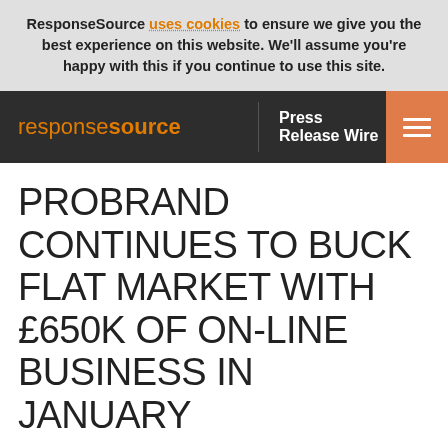ResponseSource uses cookies to ensure we give you the best experience on this website. We'll assume you're happy with this if you continue to use this site.
responsesource | Press Release Wire
PROBRAND CONTINUES TO BUCK FLAT MARKET WITH £650K OF ON-LINE BUSINESS IN JANUARY
Tuesday 1 March 2005